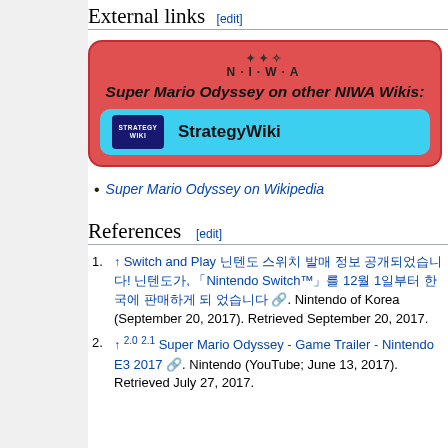External links [edit]
[Figure (infographic): NIWA box showing Super Mario Odyssey on other NIWA Wikis with a StrategyWiki link button in cyan]
Super Mario Odyssey on Wikipedia
References [edit]
↑ Switch and Play 닌텐도 스위치 발매 정보 공개되었습니다! 닌텐도가, 「Nintendo Switch™」를 12월 1일부터 한국에 판매하게 되 었습니다. Nintendo of Korea (September 20, 2017). Retrieved September 20, 2017.
↑ 2.0 2.1 Super Mario Odyssey - Game Trailer - Nintendo E3 2017. Nintendo (YouTube; June 13, 2017). Retrieved July 27, 2017.